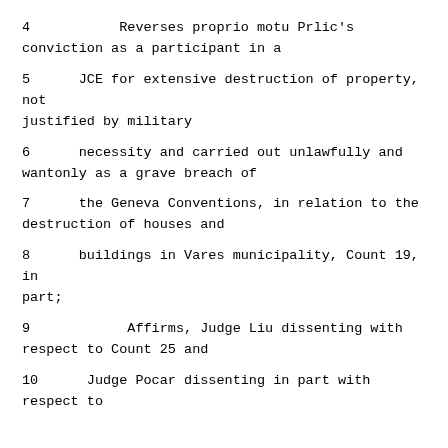4          Reverses proprio motu Prlic's conviction as a participant in a
5     JCE for extensive destruction of property, not justified by military
6     necessity and carried out unlawfully and wantonly as a grave breach of
7     the Geneva Conventions, in relation to the destruction of houses and
8     buildings in Vares municipality, Count 19, in part;
9          Affirms, Judge Liu dissenting with respect to Count 25 and
10    Judge Pocar dissenting in part with respect to